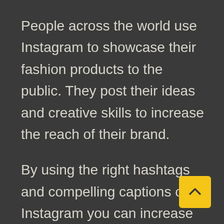People across the world use Instagram to showcase their fashion products to the public. They post their ideas and creative skills to increase the reach of their brand.
By using the right hashtags and compelling captions on Instagram you can increase the outreach of your fashion company. You also have the opportunity to directly contact and interact with your customers/ consumers. It builds an online platform